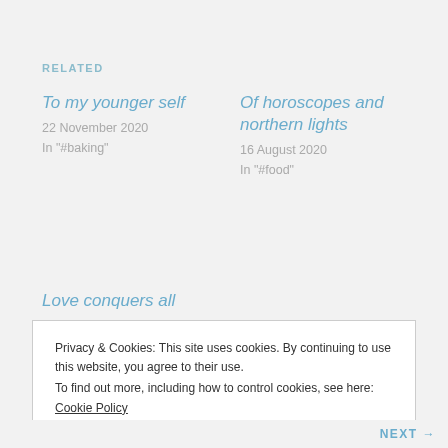RELATED
To my younger self
22 November 2020
In "#baking"
Of horoscopes and northern lights
16 August 2020
In "#food"
Love conquers all
14 February 2021
In "#food"
Privacy & Cookies: This site uses cookies. By continuing to use this website, you agree to their use.
To find out more, including how to control cookies, see here: Cookie Policy
Close and accept
NEXT →